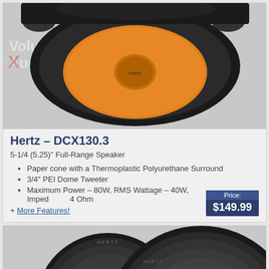[Figure (photo): Hertz DCX130.3 speaker top view showing orange woofer cone with black surround and mounting brackets, with Volunteer Audio watermark]
Hertz – DCX130.3
5-1/4 (5.25)" Full-Range Speaker
Paper cone with a Thermoplastic Polyurethane Surround
3/4" PEI Dome Tweeter
Maximum Power – 80W, RMS Wattage – 40W, Impedance: 4 Ohm
+ More Features!
Price: $149.99
[Figure (photo): Two Hertz speakers shown side by side — a smaller one on the left and a larger coaxial speaker on the right, both in black]